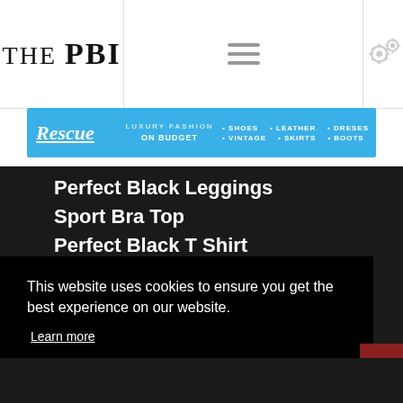THE PBI
[Figure (screenshot): Navigation bar with hamburger menu icon (three horizontal lines)]
[Figure (screenshot): Settings gear icons in header]
[Figure (screenshot): Blue advertisement banner: Rescue - LUXURY FASHION ON BUDGET • SHOES • VINTAGE • LEATHER • SKIRTS • DRESES • BOOTS]
Perfect Black Leggings
Sport Bra Top
Perfect Black T Shirt
Perfect Black Vest
This website uses cookies to ensure you get the best experience on our website.
Learn more
Got it!